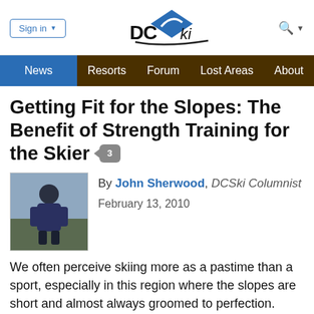Sign in | DCSkI | Search
News | Resorts | Forum | Lost Areas | About
Getting Fit for the Slopes: The Benefit of Strength Training for the Skier
By John Sherwood, DCSki Columnist
February 13, 2010
We often perceive skiing more as a pastime than a sport, especially in this region where the slopes are short and almost always groomed to perfection. Skiing, though, involves many muscle groups, some of which never get properly exercised under normal circumstances. It requires strong legs and core, range of motion, balance, flexibility,